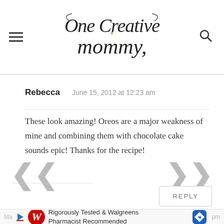One Creative Mommy
Rebecca   June 15, 2012 at 12:23 am
These look amazing! Oreos are a major weakness of mine and combining them with chocolate cake sounds epic! Thanks for the recipe!
[Figure (screenshot): Walgreens advertisement banner: Rigorously Tested & Walgreens Pharmacist Recommended]